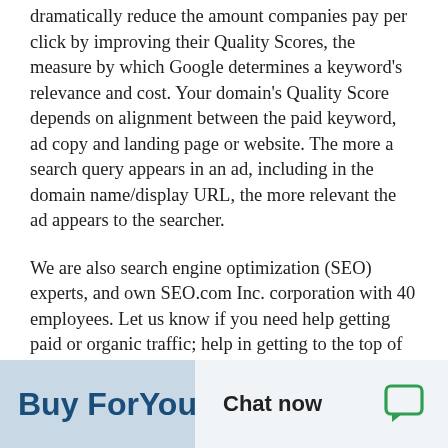dramatically reduce the amount companies pay per click by improving their Quality Scores, the measure by which Google determines a keyword's relevance and cost. Your domain's Quality Score depends on alignment between the paid keyword, ad copy and landing page or website. The more a search query appears in an ad, including in the domain name/display URL, the more relevant the ad appears to the searcher.
We are also search engine optimization (SEO) experts, and own SEO.com Inc. corporation with 40 employees. Let us know if you need help getting paid or organic traffic; help in getting to the top of Google.
Buy ForYou | Chat now